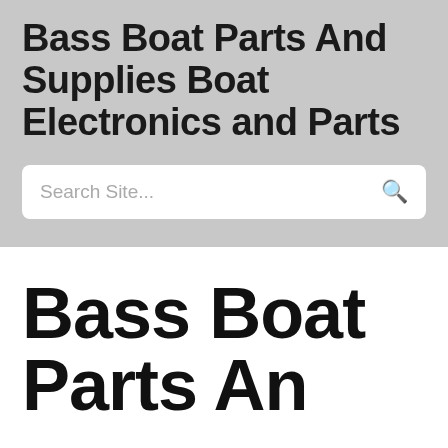Bass Boat Parts And Supplies Boat Electronics and Parts
Search Site...
Bass Boat Parts And